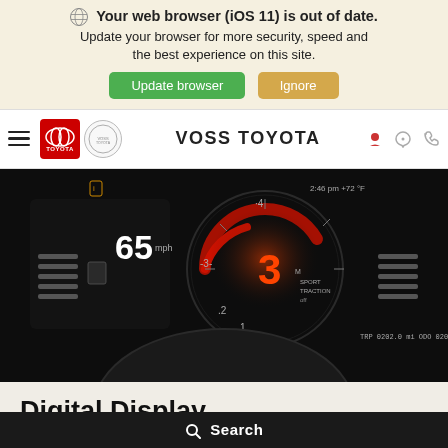Your web browser (iOS 11) is out of date. Update your browser for more security, speed and the best experience on this site.
VOSS TOYOTA
[Figure (photo): Car dashboard with digital gauge cluster showing speedometer reading 65 mph, tachometer at 3 (red illuminated), sport traction display, trip odometer 0202.0 mi, and odometer 02020 mi. Dark cockpit environment.]
Digital Display
An 8.8-in. high-resolution display rests in GR Supra's gauge pod. A
Search